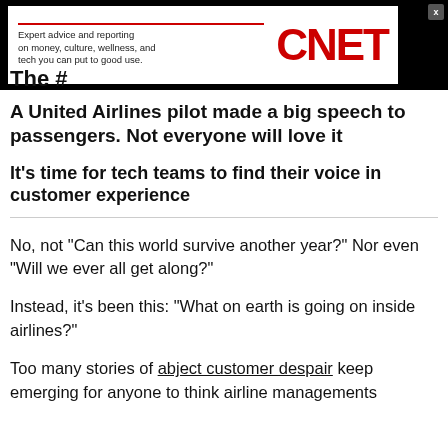[Figure (other): CNET advertisement banner with tagline: Expert advice and reporting on money, culture, wellness, and tech you can put to good use.]
The #
A United Airlines pilot made a big speech to passengers. Not everyone will love it
It's time for tech teams to find their voice in customer experience
No, not "Can this world survive another year?" Nor even "Will we ever all get along?"
Instead, it's been this: "What on earth is going on inside airlines?"
Too many stories of abject customer despair keep emerging for anyone to think airline managements